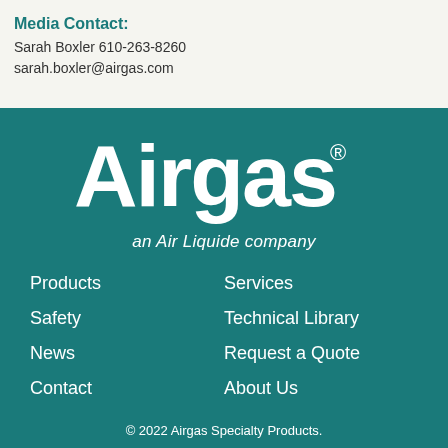Media Contact:
Sarah Boxler 610-263-8260
sarah.boxler@airgas.com
[Figure (logo): Airgas logo — white bold text 'Airgas' with registered trademark symbol, subtitle 'an Air Liquide company', on teal background]
Products
Services
Safety
Technical Library
News
Request a Quote
Contact
About Us
© 2022 Airgas Specialty Products.